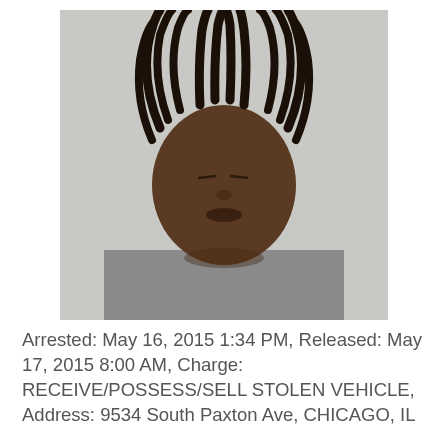[Figure (photo): Mugshot of an adult male with dreadlocks wearing a grey t-shirt, eyes closed, against a light grey background.]
Arrested: May 16, 2015 1:34 PM, Released: May 17, 2015 8:00 AM, Charge: RECEIVE/POSSESS/SELL STOLEN VEHICLE, Address: 9534 South Paxton Ave, CHICAGO, IL